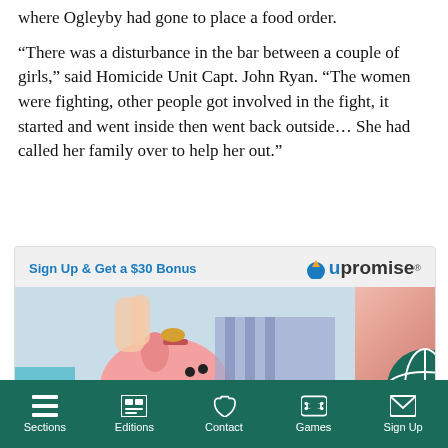where Ogleyby had gone to place a food order.
“There was a disturbance in the bar between a couple of girls,” said Homicide Unit Capt. John Ryan. “The women were fighting, other people got involved in the fight, it started and went inside then went back outside… She had called her family over to help her out.”
[Figure (infographic): Upromise advertisement with 'Sign Up & Get a $30 Bonus' text and a photo of a child putting a coin into a pink piggy bank]
Sections | Editions | Contact | Games | Sign Up